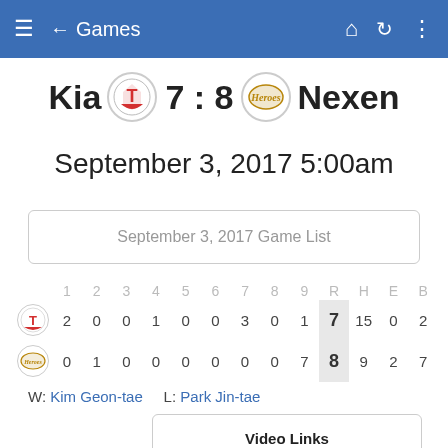Games
Kia 7 : 8 Nexen
September 3, 2017 5:00am
September 3, 2017 Game List
|  | 1 | 2 | 3 | 4 | 5 | 6 | 7 | 8 | 9 | R | H | E | B |
| --- | --- | --- | --- | --- | --- | --- | --- | --- | --- | --- | --- | --- | --- |
| [Kia logo] | 2 | 0 | 0 | 1 | 0 | 0 | 3 | 0 | 1 | 7 | 15 | 0 | 2 |
| [Nexen logo] | 0 | 1 | 0 | 0 | 0 | 0 | 0 | 0 | 7 | 8 | 9 | 2 | 7 |
W: Kim Geon-tae    L: Park Jin-tae
Video Links
Watch Highlights